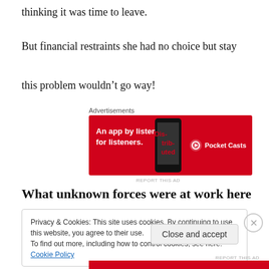thinking it was time to leave.
But financial restraints she had no choice but stay
this problem wouldn’t go way!
Advertisements
[Figure (screenshot): Pocket Casts advertisement: red banner with text 'An app by listeners, for listeners.' and Pocket Casts logo with phone graphic]
REPORT THIS AD
What unknown forces were at work here
Privacy & Cookies: This site uses cookies. By continuing to use this website, you agree to their use.
To find out more, including how to control cookies, see here: Cookie Policy
Close and accept